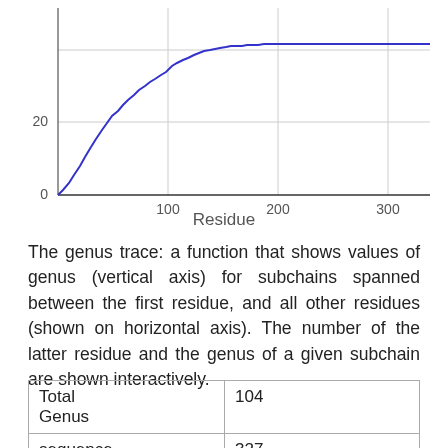[Figure (continuous-plot): A genus trace line chart showing genus values (vertical axis, 0 to ~25) for subchains spanned between the first residue and all other residues (horizontal axis, 0 to ~340). The blue line starts at 0 and rises steeply from about residue 10 to residue 90, reaching approximately genus 25, then flattens and remains roughly constant from residue 100 to 340.]
Residue
The genus trace: a function that shows values of genus (vertical axis) for subchains spanned between the first residue, and all other residues (shown on horizontal axis). The number of the latter residue and the genus of a given subchain are shown interactively.
| Total Genus | 104 |
| sequence | 327 |